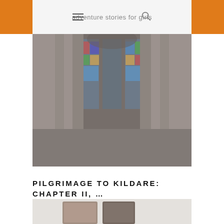adventure stories for girls
[Figure (photo): Interior of a church or cathedral with stained glass windows and stone columns, blurred/bokeh effect]
PILGRIMAGE TO KILDARE: CHAPTER II, …
[Figure (photo): Person holding photographs or tarot-like cards, blurred background]